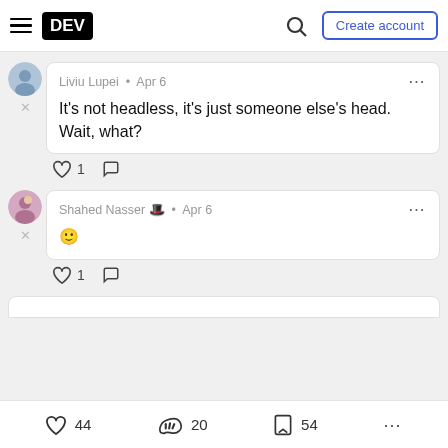DEV | Create account
Liviu Lupei · Apr 6
It's not headless, it's just someone else's head. Wait, what?
♡ 1  comment
Shahed Nasser 🎩 · Apr 6
🙂
♡ 1  comment
♡ 44   20   54   ...